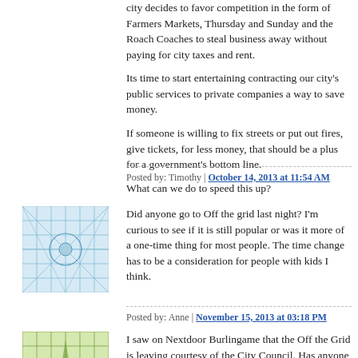city decides to favor competition in the form of Farmers Markets, Thursday and Sunday and the Roach Coaches to steal business away without paying for city taxes and rent.
Its time to start entertaining contracting our city's public services to private companies a way to save money.
If someone is willing to fix streets or put out fires, give tickets, for less money, that should be a plus for a government's bottom line.
What can we do to speed this up?
Posted by: Timothy | October 14, 2013 at 11:54 AM
[Figure (illustration): Avatar icon with blue geometric/grid pattern]
Did anyone go to Off the grid last night? I'm curious to see if it is still popular or was it more of a one-time thing for most people. The time change has to be a consideration for people with kids I think.
Posted by: Anne | November 15, 2013 at 03:18 PM
[Figure (illustration): Avatar icon with green geometric star/grid pattern]
I saw on Nextdoor Burlingame that the Off the Grid is leaving courtesy of the City Council. Has anyone else heard of this? I live right up the street and really want to go, just haven't